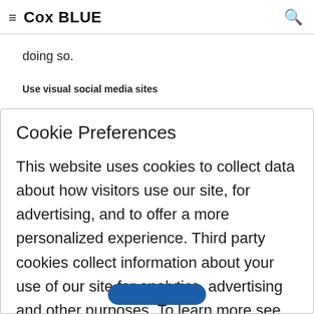≡ Cox BLUE 🔍
doing so.
Use visual social media sites
Cookie Preferences
This website uses cookies to collect data about how visitors use our site, for advertising, and to offer a more personalized experience. Third party cookies collect information about your use of our site for analytics, advertising and other purposes. To learn more see our Online Privacy Policy and California Privacy Notice.